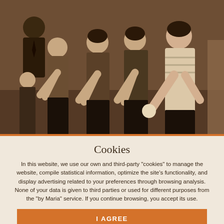[Figure (photo): Sepia-toned black and white historical photograph of a group of women bowling, leaning forward in bowling stance. A man in a suit is visible in the background on the left.]
Cookies
In this website, we use our own and third-party "cookies" to manage the website, compile statistical information, optimize the site's functionality, and display advertising related to your preferences through browsing analysis. None of your data is given to third parties or used for different purposes from the "by Maria" service. If you continue browsing, you accept its use.
I AGREE